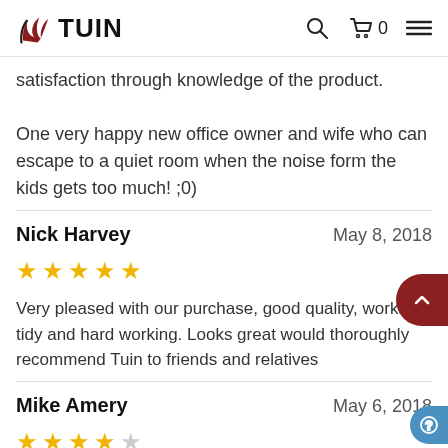TUIN
satisfaction through knowledge of the product.
One very happy new office owner and wife who can escape to a quiet room when the noise form the kids gets too much! ;0)
Nick Harvey
May 8, 2018
★★★★★ (5 stars)
Very pleased with our purchase, good quality, workm... tidy and hard working. Looks great would thoroughly recommend Tuin to friends and relatives
Mike Amery
May 6, 2018
★★★★☆ (4 stars)
Generally I'm very pleased with the Chloe log cabin. The design, build quality and assembly process are all